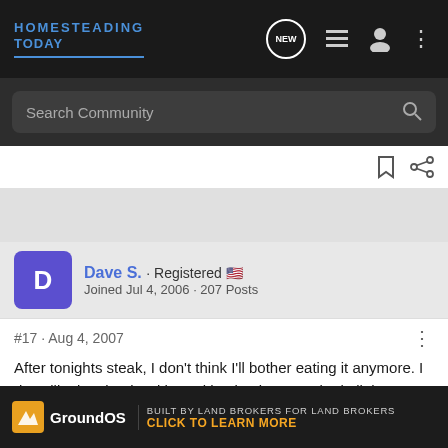HOMESTEADING TODAY
Search Community
Dave S. · Registered 🇺🇸
Joined Jul 4, 2006 · 207 Posts
#17 · Aug 4, 2007
After tonights steak, I don't think I'll bother eating it anymore. I don't like it to begin with, and having it not cooked all the way has put me off of it for good. I agree with a friend of mine. When asked h... f just before i... e fire
[Figure (screenshot): GroundOS advertisement banner: 'BUILT BY LAND BROKERS FOR LAND BROKERS · CLICK TO LEARN MORE']